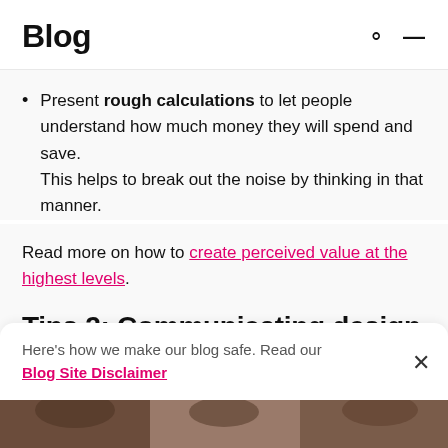Blog
Present rough calculations to let people understand how much money they will spend and save.
This helps to break out the noise by thinking in that manner.
Read more on how to create perceived value at the highest levels.
Tips 2: Communicating design when
Here's how we make our blog safe. Read our Blog Site Disclaimer